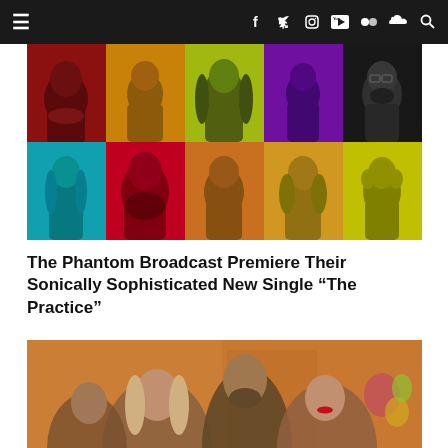≡ [navigation icons: facebook, twitter, instagram, youtube, flickr, soundcloud, search]
[Figure (photo): Pop-art style grid of 10 band member portraits in 2 rows of 5, with colorful backgrounds (red, orange, yellow-green, purple, black, cyan, crimson, brown, gold, magenta, yellow)]
The Phantom Broadcast Premiere Their Sonically Sophisticated New Single “The Practice”
[Figure (photo): Band photo showing four people posed together against a warm orange/tan textured background, with flowers visible. Band members include a woman with long hair in front left, a tall man with beard in center-back, and a woman with red lipstick in front right.]